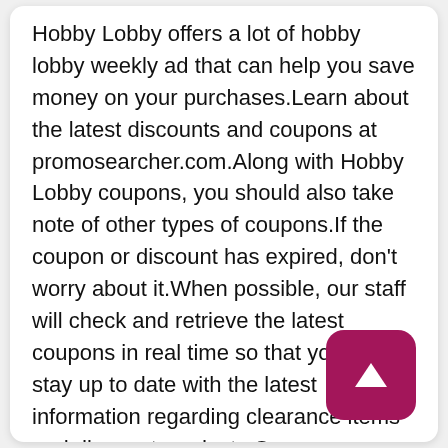Hobby Lobby offers a lot of hobby lobby weekly ad that can help you save money on your purchases.Learn about the latest discounts and coupons at promosearcher.com.Along with Hobby Lobby coupons, you should also take note of other types of coupons.If the coupon or discount has expired, don't worry about it.When possible, our staff will check and retrieve the latest coupons in real time so that you can stay up to date with the latest information regarding clearance items and discount products.On promosearcher, you are able to search for the best coupons for Hobby Lobby and utilize t to save money on your next purchase.Sho pleasure